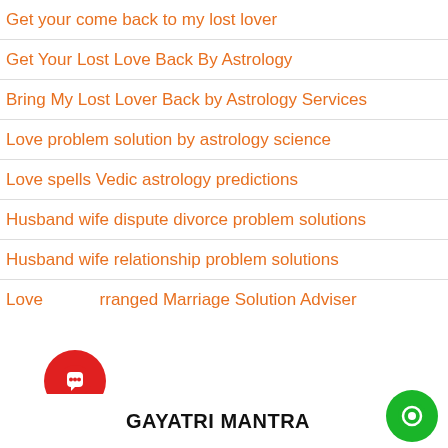Get your come back to my lost lover
Get Your Lost Love Back By Astrology
Bring My Lost Lover Back by Astrology Services
Love problem solution by astrology science
Love spells Vedic astrology predictions
Husband wife dispute divorce problem solutions
Husband wife relationship problem solutions
Love Arranged Marriage Solution Adviser
GAYATRI MANTRA